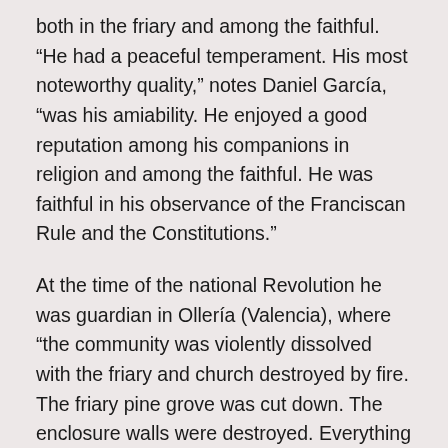both in the friary and among the faithful. "He had a peaceful temperament. His most noteworthy quality," notes Daniel García, "was his amiability. He enjoyed a good reputation among his companions in religion and among the faithful. He was faithful in his observance of the Franciscan Rule and the Constitutions."
At the time of the national Revolution he was guardian in Ollería (Valencia), where "the community was violently dissolved with the friary and church destroyed by fire. The friary pine grove was cut down. The enclosure walls were destroyed. Everything was reduced to nothing. When communications had been re-established, Br. Modesto went to his home town and took refuge in the home of his sister Teresa, along with his brother, a priest, Mosén Miguel, parish priest of